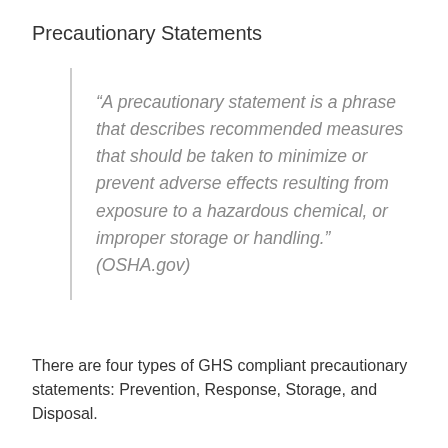Precautionary Statements
“A precautionary statement is a phrase that describes recommended measures that should be taken to minimize or prevent adverse effects resulting from exposure to a hazardous chemical, or improper storage or handling.” (OSHA.gov)
There are four types of GHS compliant precautionary statements: Prevention, Response, Storage, and Disposal.